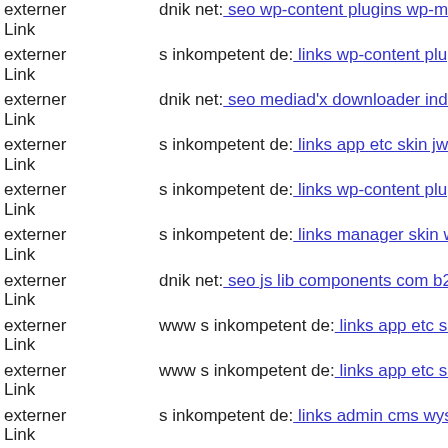externer Link  dnik net: seo wp-content plugins wp-mobile-detector cache
externer Link  s inkompetent de: links wp-content plugins formcraft file-up
externer Link  dnik net: seo mediad'x downloader index php
externer Link  s inkompetent de: links app etc skin jwallpapers files pluplo
externer Link  s inkompetent de: links wp-content pluginshoux
externer Link  s inkompetent de: links manager skin wp-content plugins w
externer Link  dnik net: seo js lib components com b2jcontact dlc php
externer Link  www s inkompetent de: links app etc skin administrator con
externer Link  www s inkompetent de: links app etc skin administrator con
externer Link  s inkompetent de: links admin cms wysiwyg directive skin
externer Link  dnik net: seo robots txt administrator components com jinc
externer Link  dnik net: seo wordpress